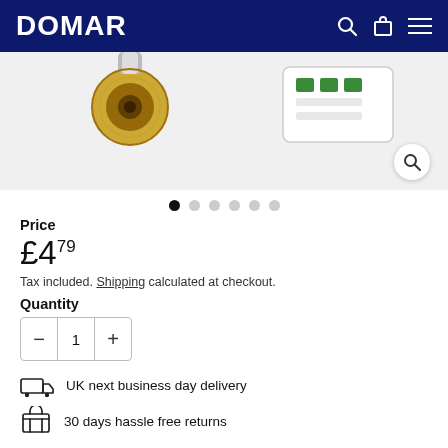DOMAR
[Figure (photo): Product photo showing BNC connectors and a white electronic module/adapter on a light grey background, with a zoom/magnify button overlay in the bottom right corner.]
• • • • • • (carousel navigation dots, first dot active)
Price
£4.79
Tax included. Shipping calculated at checkout.
Quantity
- 1 +
UK next business day delivery
30 days hassle free returns